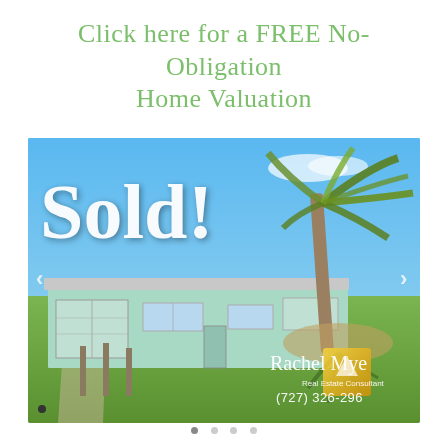Click here for a FREE No-Obligation Home Valuation
[Figure (photo): Photo of a sold single-story home with a palm tree in the front yard, overlaid with large cursive 'Sold!' text in white, and agent branding in the bottom right showing 'Rachel Myer, Real Estate Consultant, (727) 326-296' with a gold logo. Navigation arrows visible on the sides.]